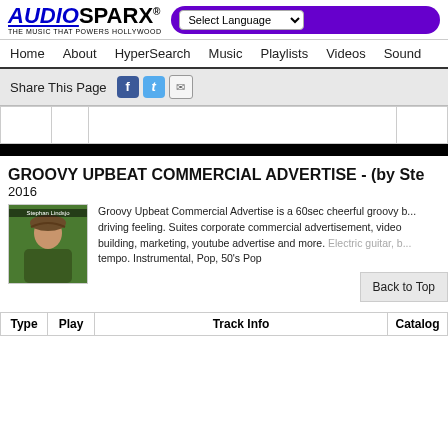[Figure (logo): AudioSparx logo with tagline 'THE MUSIC THAT POWERS HOLLYWOOD']
Select Language | (search bar)
Home  About  HyperSearch  Music  Playlists  Videos  Sound
Share This Page (Facebook, Twitter, Email icons)
[Figure (other): Audio player interface with cells and black bar]
GROOVY UPBEAT COMMERCIAL ADVERTISE - (by Ste...
2016
[Figure (photo): Photo of artist Stephan Lindsjo wearing a hat outdoors]
Groovy Upbeat Commercial Advertise is a 60sec cheerful groovy b... driving feeling. Suites corporate commercial advertisement, video building, marketing, youtube advertise and more. Electric guitar, b... tempo. Instrumental, Pop, 50's Pop
Back to Top
| Type | Play | Track Info | Catalog |
| --- | --- | --- | --- |